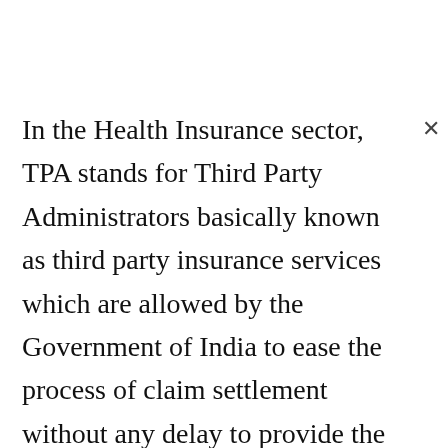In the Health Insurance sector, TPA stands for Third Party Administrators basically known as third party insurance services which are allowed by the Government of India to ease the process of claim settlement without any delay to provide the finance for medical treatment. So, that the general public can avail the health insurance policy services like claim settlements related to health through these lists of TPAs allotted.

Health Insurance has become a necessity during